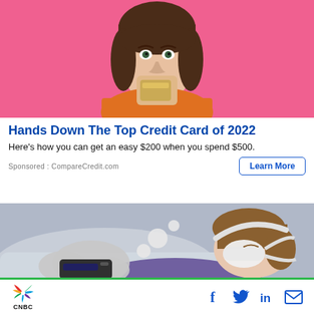[Figure (photo): Woman with brown hair holding a credit card against pink background]
Hands Down The Top Credit Card of 2022
Here's how you can get an easy $200 when you spend $500.
Sponsored : CompareCredit.com
[Figure (photo): Woman sleeping with CPAP mask, dream bubble overlay with CPAP machine]
CNBC